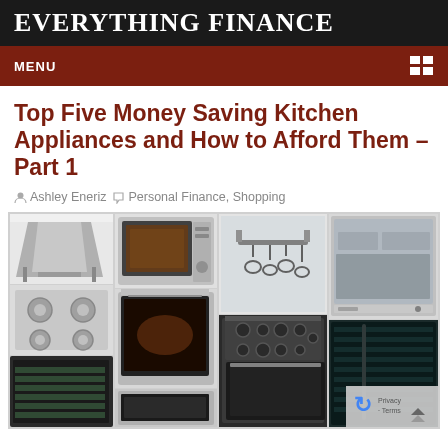EVERYTHING FINANCE
MENU
Top Five Money Saving Kitchen Appliances and How to Afford Them – Part 1
Ashley Eneriz   Personal Finance, Shopping
[Figure (photo): Collage of kitchen appliances including a range hood, gas hob, built-in oven, wall oven, microwave, pot rack, dishwasher, range cooker, wine cooler, and refrigerator]